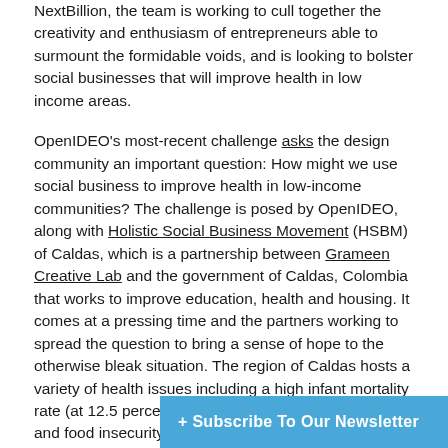NextBillion, the team is working to cull together the creativity and enthusiasm of entrepreneurs able to surmount the formidable voids, and is looking to bolster social businesses that will improve health in low income areas.
OpenIDEO's most-recent challenge asks the design community an important question: How might we use social business to improve health in low-income communities? The challenge is posed by OpenIDEO, along with Holistic Social Business Movement (HSBM) of Caldas, which is a partnership between Grameen Creative Lab and the government of Caldas, Colombia that works to improve education, health and housing. It comes at a pressing time and the partners working to spread the question to bring a sense of hope to the otherwise bleak situation. The region of Caldas hosts a variety of health issues including a high infant mortality rate (at 12.5 percent), high instances of malnutrition and food insecurity, and poor reproductive health knowledge. The capital of Caldas has a poverty rate of 57.1 percent and the people of 26 percent of the general population lives in extreme poverty.
+ Subscribe To Our Newsletter